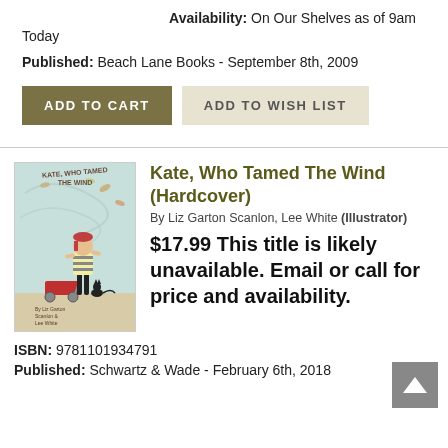Availability: On Our Shelves as of 9am Today
Published: Beach Lane Books - September 8th, 2009
ADD TO CART
ADD TO WISH LIST
[Figure (illustration): Book cover of 'Kate, Who Tamed The Wind' showing a girl with a red wagon and a black cat]
Kate, Who Tamed The Wind (Hardcover)
By Liz Garton Scanlon, Lee White (Illustrator)
$17.99 This title is likely unavailable. Email or call for price and availability.
ISBN: 9781101934791
Published: Schwartz & Wade - February 6th, 2018